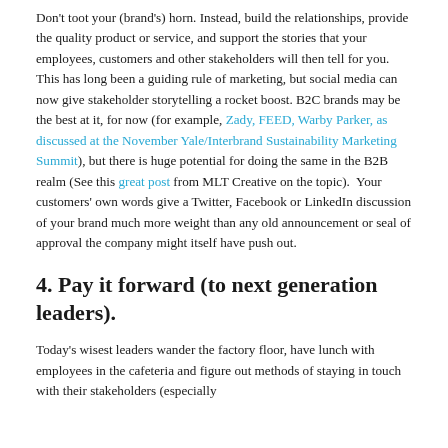Don't toot your (brand's) horn. Instead, build the relationships, provide the quality product or service, and support the stories that your employees, customers and other stakeholders will then tell for you. This has long been a guiding rule of marketing, but social media can now give stakeholder storytelling a rocket boost. B2C brands may be the best at it, for now (for example, Zady, FEED, Warby Parker, as discussed at the November Yale/Interbrand Sustainability Marketing Summit), but there is huge potential for doing the same in the B2B realm (See this great post from MLT Creative on the topic).  Your customers' own words give a Twitter, Facebook or LinkedIn discussion of your brand much more weight than any old announcement or seal of approval the company might itself have push out.
4. Pay it forward (to next generation leaders).
Today's wisest leaders wander the factory floor, have lunch with employees in the cafeteria and figure out methods of staying in touch with their stakeholders (especially